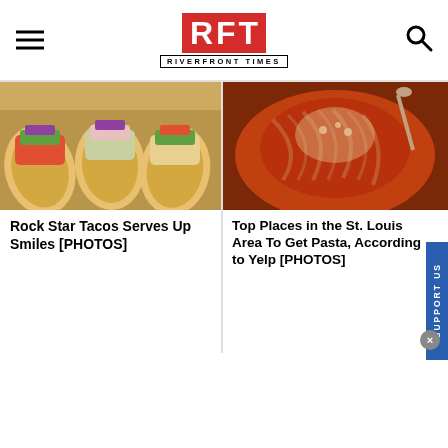RFT RIVERFRONT TIMES
[Figure (photo): Three tacos with colorful toppings including red onion, cilantro, and vegetables]
[Figure (photo): Pasta dish with tomato sauce and grated cheese]
Rock Star Tacos Serves Up Smiles [PHOTOS]
Top Places in the St. Louis Area To Get Pasta, According to Yelp [PHOTOS]
[Figure (photo): Outdoor patio with orange umbrellas and tables at a restaurant]
[Figure (photo): Close-up of a pressed Cuban sandwich with ham and cheese]